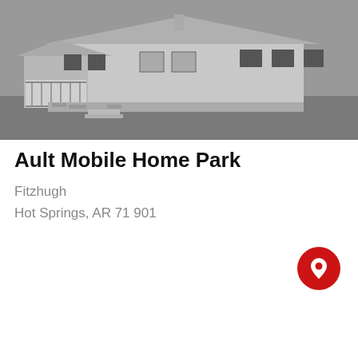[Figure (photo): Grayscale photo of a single-story mobile home with a covered porch/deck on the left side, shutters on windows, and stone foundation accents. Green lawn in foreground, gray sky.]
Ault Mobile Home Park
Fitzhugh
Hot Springs, AR 71901
[Figure (other): Red circular map pin / location button icon]